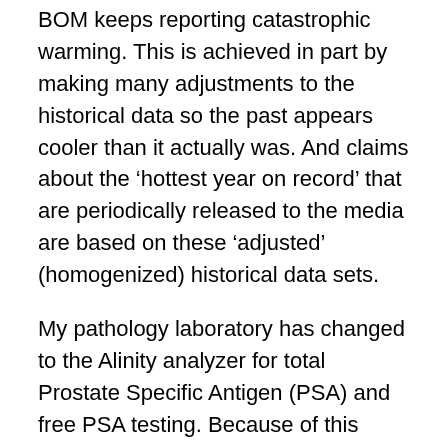BOM keeps reporting catastrophic warming. This is achieved in part by making many adjustments to the historical data so the past appears cooler than it actually was. And claims about the 'hottest year on record' that are periodically released to the media are based on these 'adjusted' (homogenized) historical data sets.
My pathology laboratory has changed to the Alinity analyzer for total Prostate Specific Antigen (PSA) and free PSA testing. Because of this change in instrumentation, for total PSA results >0.2 ug/L, results are 20% higher compared to the previous method. I have more confidence in this data homogenization than in the one used by the BOM for adjusting surface temperatures.
There is also evidence of fraudulent manipulation of tidal data to give an acceleration in the increase in sea levels,